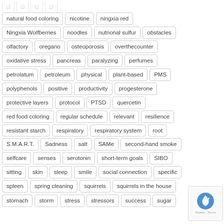natural food coloring
nicotine
ningxia red
Ningxia Wolfberries
noodles
nutrional sulfur
obstacles
olfactory
oregano
osteoporosis
overthecounter
oxidative stress
pancreas
paralyzing
perfumes
petrolatum
petroleum
physical
plant-based
PMS
polyphenols
positive
productivity
progesterone
protective layers
protocol
PTSD
quercetin
red food coloring
regular schedule
relevant
resilience
resistant starch
respiratory
respiratory system
root
S.M.A.R.T.
Sadness
salt
SAMe
second-hand smoke
selfcare
senses
serotonin
short-term goals
SIBO
sitting
skin
sleep
smile
social connection
specific
spleen
spring cleaning
squirrels
squirrels in the house
stomach
storm
stress
stressors
success
sugar